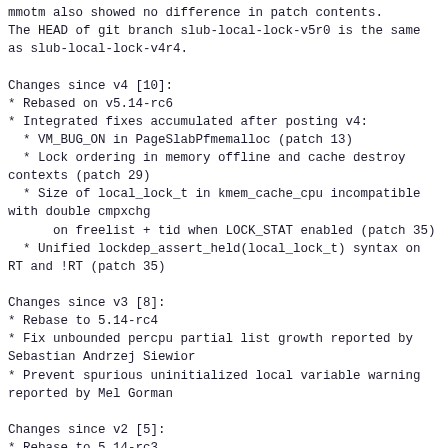mmotm also showed no difference in patch contents.
The HEAD of git branch slub-local-lock-v5r0 is the same
as slub-local-lock-v4r4.
Changes since v4 [10]:
* Rebased on v5.14-rc6
* Integrated fixes accumulated after posting v4:
  * VM_BUG_ON in PageSlabPfmemalloc (patch 13)
  * Lock ordering in memory offline and cache destroy
contexts (patch 29)
  * Size of local_lock_t in kmem_cache_cpu incompatible
with double cmpxchg
      on freelist + tid when LOCK_STAT enabled (patch 35)
  * Unified lockdep_assert_held(local_lock_t) syntax on
RT and !RT (patch 35)
Changes since v3 [8]:
* Rebase to 5.14-rc4
* Fix unbounded percpu partial list growth reported by
Sebastian Andrzej Siewior
* Prevent spurious uninitialized local variable warning
reported by Mel Gorman
Changes since v2 [5]:
* Rebase to 5.14-rc3
* A number of fixes to the RT parts, big thanks to Mike
Galbraith for testing
  and debugging!
  * The largest fix is to protect kmem_cache_cpu-
>partial by local_lock instead